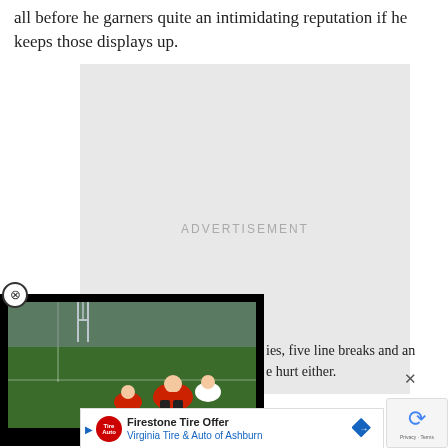all before he garners quite an intimidating reputation if he keeps those displays up.
[Figure (other): Advertisement placeholder box with light grey background and centered text reading ADVERTISEMENT]
[Figure (screenshot): Embedded video overlay showing a rugby match scene on a green field, players in red jerseys, with a black background border and close button]
ies, five line breaks and an e hurt either.
[Figure (other): Firestone Tire Offer advertisement banner for Virginia Tire & Auto of Ashburn with logo and blue diamond navigation icon]
"Defer                                                 er, he